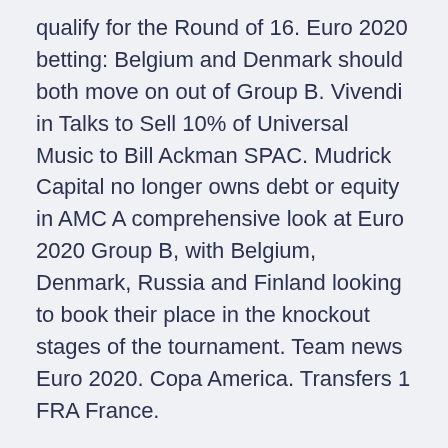qualify for the Round of 16. Euro 2020 betting: Belgium and Denmark should both move on out of Group B. Vivendi in Talks to Sell 10% of Universal Music to Bill Ackman SPAC. Mudrick Capital no longer owns debt or equity in AMC A comprehensive look at Euro 2020 Group B, with Belgium, Denmark, Russia and Finland looking to book their place in the knockout stages of the tournament. Team news Euro 2020. Copa America. Transfers 1 FRA France.
Group F. Portugal POR -- Spain ESP --Poland POL See more. Close Denmark-Belgium UEFA EURO 2020 .